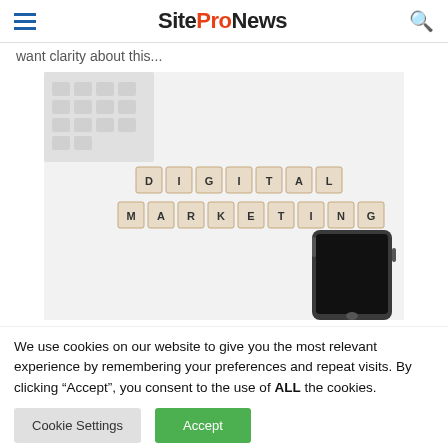SiteProNews
want clarity about this...
[Figure (photo): Digital Marketing scrabble tiles on white surface with keyboard and smartphone]
We use cookies on our website to give you the most relevant experience by remembering your preferences and repeat visits. By clicking “Accept”, you consent to the use of ALL the cookies.